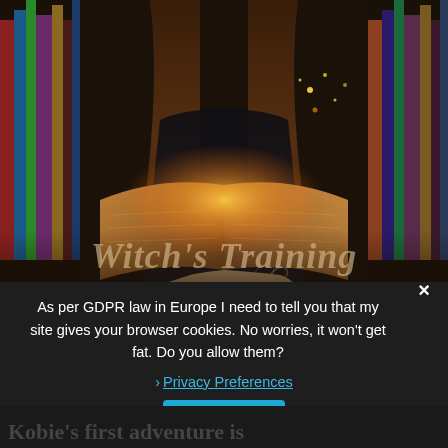[Figure (photo): Book cover image showing a person holding an open glowing book in a library/bookshelf setting, with title 'Witch's Training' overlaid in decorative serif italic font, partially obscured by a GDPR cookie consent modal]
As per GDPR law in Europe I need to tell you that my site gives your browser cookies. No worries, it won't get fat. Do you allow them?
❯ Privacy Preferences
I Agree
Kobie's first adventure is